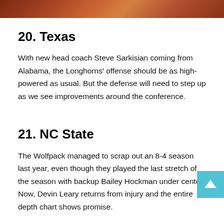[Figure (photo): Partial photo strip at top of page showing an orange/brown toned image, likely a sports photo]
20. Texas
With new head coach Steve Sarkisian coming from Alabama, the Longhorns' offense should be as high-powered as usual. But the defense will need to step up as we see improvements around the conference.
21. NC State
The Wolfpack managed to scrap out an 8-4 season last year, even though they played the last stretch of the season with backup Bailey Hockman under center. Now, Devin Leary returns from injury and the entire depth chart shows promise.
22. LSU
The Tigers went from national champions to a mere 5-5 in the